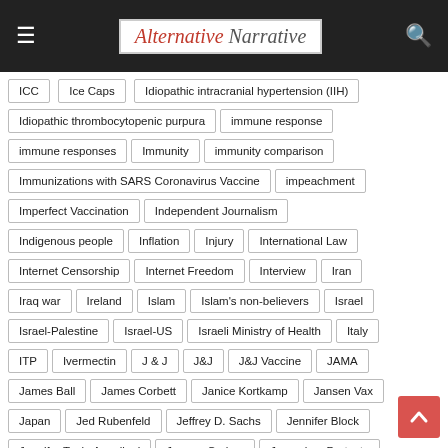Alternative Narrative
ICC
Ice Caps
Idiopathic intracranial hypertension (IIH)
Idiopathic thrombocytopenic purpura
immune response
immune responses
Immunity
immunity comparison
Immunizations with SARS Coronavirus Vaccine
impeachment
Imperfect Vaccination
Independent Journalism
Indigenous people
Inflation
Injury
International Law
Internet Censorship
Internet Freedom
Interview
Iran
Iraq war
Ireland
Islam
Islam's non-believers
Israel
Israel-Palestine
Israel-US
Israeli Ministry of Health
Italy
ITP
Ivermectin
J & J
J&J
J&J Vaccine
JAMA
James Ball
James Corbett
Janice Kortkamp
Jansen Vax
Japan
Jed Rubenfeld
Jeffrey D. Sachs
Jennifer Block
Jennifer Toole Appolloni
Jeremy Corbyn
Jerusalem Protests